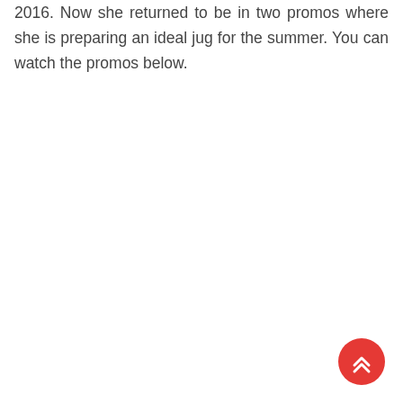2016. Now she returned to be in two promos where she is preparing an ideal jug for the summer. You can watch the promos below.
[Figure (other): Red circular scroll-to-top button with double chevron (upward arrows) icon in white, positioned at bottom-right corner of the page.]